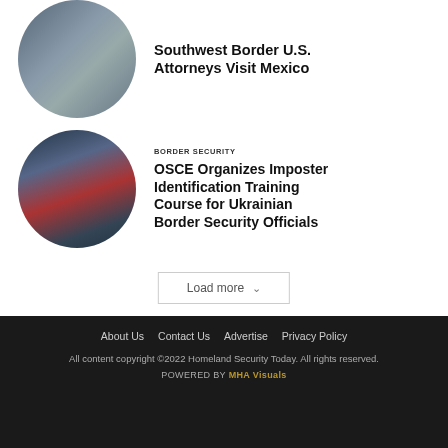[Figure (photo): Circular thumbnail photo of a meeting room with flags including Mexican and US flags on a conference table]
Southwest Border U.S. Attorneys Visit Mexico
[Figure (photo): Circular thumbnail photo of passports and luggage on a conveyor, border security theme]
BORDER SECURITY
OSCE Organizes Imposter Identification Training Course for Ukrainian Border Security Officials
Load more
About Us   Contact Us   Advertise   Privacy Policy
All content copyright ©2022 Homeland Security Today. All rights reserved.
POWERED BY MHA Visuals